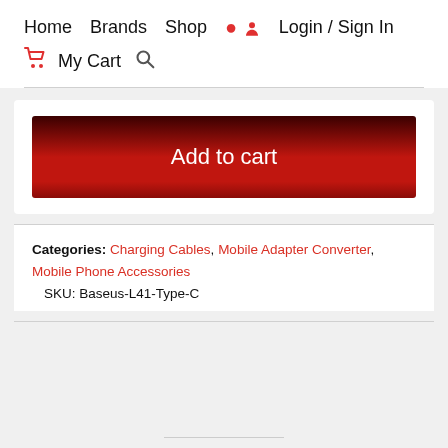Home  Brands  Shop  Login / Sign In  My Cart
[Figure (other): Add to cart button with dark red gradient background and white text]
Categories: Charging Cables, Mobile Adapter Converter, Mobile Phone Accessories
   SKU: Baseus-L41-Type-C